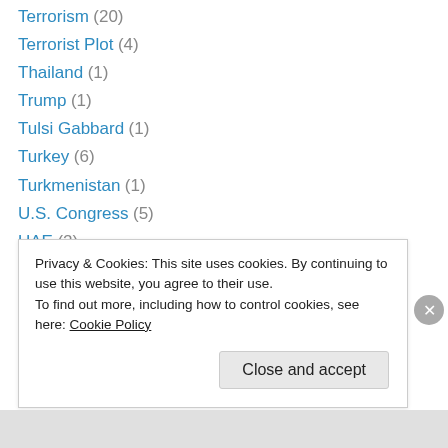Terrorism (20)
Terrorist Plot (4)
Thailand (1)
Trump (1)
Tulsi Gabbard (1)
Turkey (6)
Turkmenistan (1)
U.S. Congress (5)
UAE (2)
Uncategorized (16)
Unit 400 (1)
United Nations (14)
unmanned bomber (1)
Privacy & Cookies: This site uses cookies. By continuing to use this website, you agree to their use. To find out more, including how to control cookies, see here: Cookie Policy
Close and accept